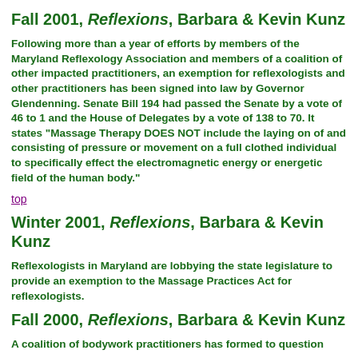Fall 2001, Reflexions, Barbara & Kevin Kunz
Following more than a year of efforts by members of the Maryland Reflexology Association and members of a coalition of other impacted practitioners, an exemption for reflexologists and other practitioners has been signed into law by Governor Glendenning. Senate Bill 194 had passed the Senate by a vote of 46 to 1 and the House of Delegates by a vote of 138 to 70. It states "Massage Therapy DOES NOT include the laying on of and consisting of pressure or movement on a full clothed individual to specifically effect the electromagnetic energy or energetic field of the human body."
top
Winter 2001, Reflexions, Barbara & Kevin Kunz
Reflexologists in Maryland are lobbying the state legislature to provide an exemption to the Massage Practices Act for reflexologists.
Fall 2000, Reflexions, Barbara & Kevin Kunz
A coalition of bodywork practitioners has formed to question